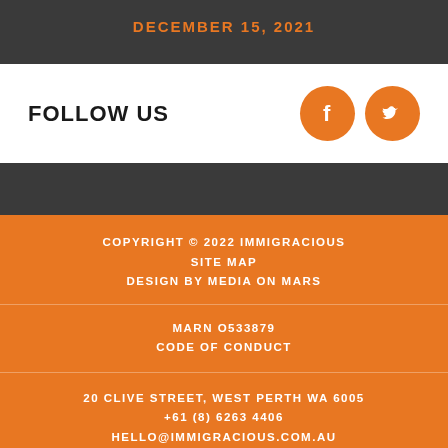DECEMBER 15, 2021
FOLLOW US
[Figure (illustration): Facebook and Twitter orange circle icons]
COPYRIGHT © 2022 IMMIGRACIOUS
SITE MAP
DESIGN BY MEDIA ON MARS
MARN O533879
CODE OF CONDUCT
20 CLIVE STREET, WEST PERTH WA 6005
+61 (8) 6263 4406
HELLO@IMMIGRACIOUS.COM.AU